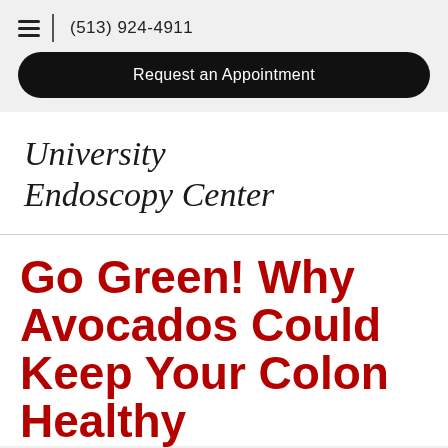(513) 924-4911
Request an Appointment
University Endoscopy Center
Go Green! Why Avocados Could Keep Your Colon Healthy